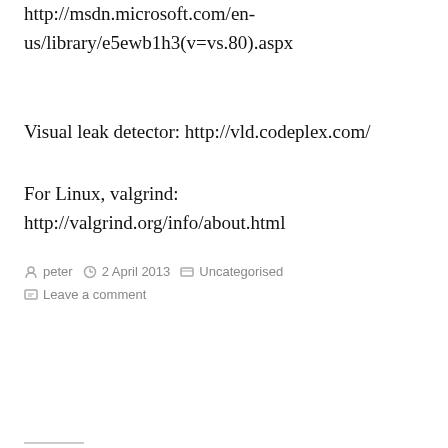http://msdn.microsoft.com/en-us/library/e5ewb1h3(v=vs.80).aspx
Visual leak detector: http://vld.codeplex.com/
For Linux, valgrind: http://valgrind.org/info/about.html
By peter  2 April 2013  Uncategorised  Leave a comment